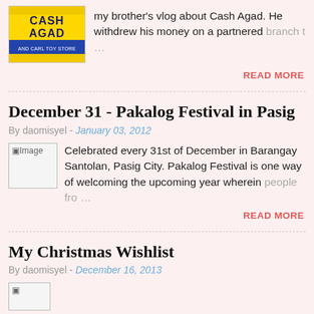my brother's vlog about Cash Agad. He withdrew his money on a partnered branch t…
READ MORE
December 31 - Pakalog Festival in Pasig
By daomisyel - January 03, 2012
Celebrated every 31st of December in Barangay Santolan, Pasig City. Pakalog Festival is one way of welcoming the upcoming year wherein people fro…
READ MORE
My Christmas Wishlist
By daomisyel - December 16, 2013